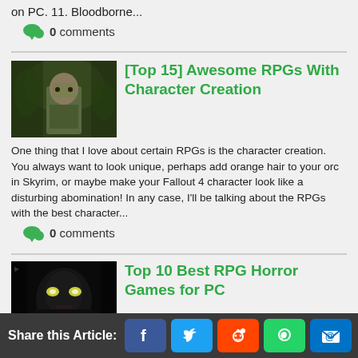on PC. 11. Bloodborne...
0 comments
[Top 15] Awesome RPGs With Character Creation
[Figure (photo): Screenshot from an RPG game showing a character in a forest/outdoor scene]
One thing that I love about certain RPGs is the character creation. You always want to look unique, perhaps add orange hair to your orc in Skyrim, or maybe make your Fallout 4 character look like a disturbing abomination! In any case, I'll be talking about the RPGs with the best character...
0 comments
Top 10 Best RPG Horror Games for PC
[Figure (photo): Dark horror game screenshot showing a monstrous or creepy figure]
10 RPG Horror Games To Satisfy Your Need for Roleplaying and Horror Horror games are created with a singular purpose; to scare the ever-living daylights out of the player. The type of game that does this best is the RPG
Share this Article: